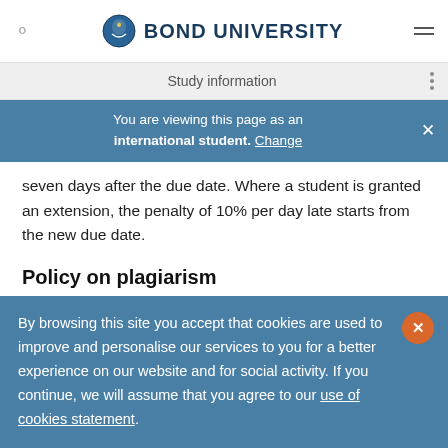BOND UNIVERSITY
Study information
You are viewing this page as an international student. Change
seven days after the due date. Where a student is granted an extension, the penalty of 10% per day late starts from the new due date.
Policy on plagiarism
University's Academic Integrity Policy defines plagiarism as the act of misrepresenting as one's own original work:
By browsing this site you accept that cookies are used to improve and personalise our services to you for a better experience on our website and for social activity. If you continue, we will assume that you agree to our use of cookies statement.